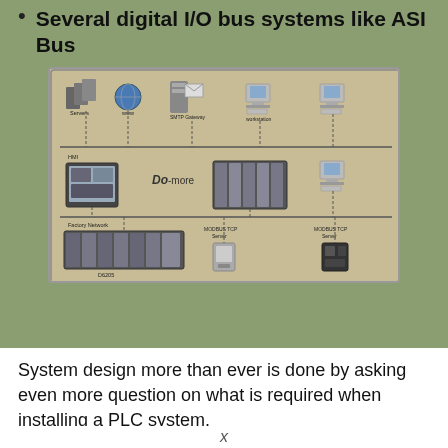Several digital I/O bus systems like ASI Bus
[Figure (engineering-diagram): Network diagram showing a PLC system architecture including Servers, HMI, Do-more controller, SMTP Gateway, MODBUS TCP Servers, D6205, and various networked devices arranged in a factory network topology.]
System design more than ever is done by asking even more question on what is required when installing a PLC system.
x